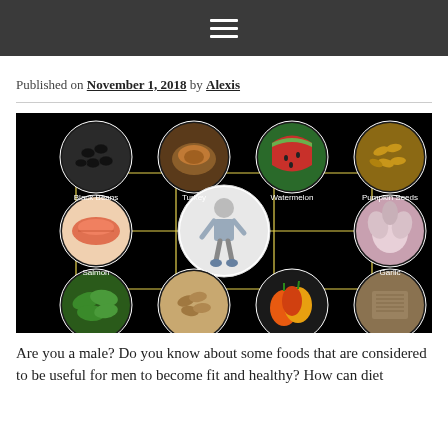☰ (hamburger menu icon)
Published on November 1, 2018 by Alexis
[Figure (infographic): Infographic on black background showing healthy foods for men arranged in a grid with circular food images: Black Beans, Turkey, Watermelon, Pumpkin Seeds, Salmon, (center: man exercising), Garlic, (bottom row: spinach/greens, almonds, bell peppers, seeds/grains). Yellow grid lines connect the food circles.]
Are you a male? Do you know about some foods that are considered to be useful for men to become fit and healthy? How can diet